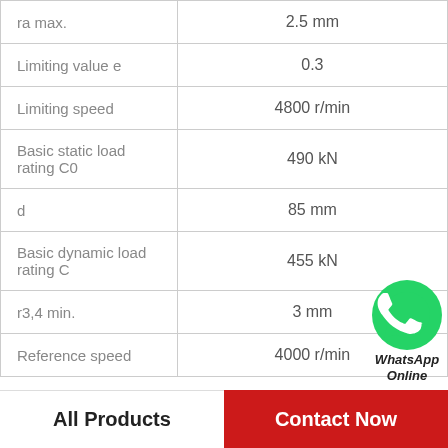| Property | Value |
| --- | --- |
| ra max. | 2.5 mm |
| Limiting value e | 0.3 |
| Limiting speed | 4800 r/min |
| Basic static load rating C0 | 490 kN |
| d | 85 mm |
| Basic dynamic load rating C | 455 kN |
| r3,4 min. | 3 mm |
| Reference speed | 4000 r/min |
[Figure (logo): WhatsApp Online button with green WhatsApp logo icon and italic bold text 'WhatsApp Online']
All Products    Contact Now